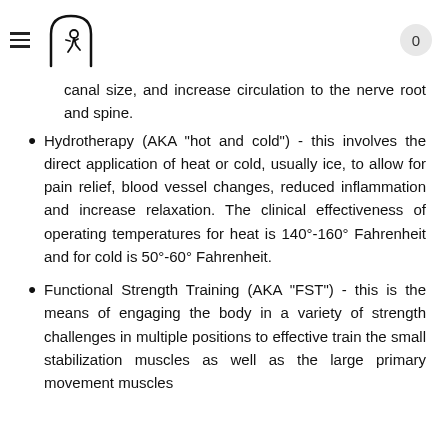Header with hamburger menu, logo, and badge showing 0
canal size, and increase circulation to the nerve root and spine.
Hydrotherapy (AKA "hot and cold") - this involves the direct application of heat or cold, usually ice, to allow for pain relief, blood vessel changes, reduced inflammation and increase relaxation. The clinical effectiveness of operating temperatures for heat is 140°-160° Fahrenheit and for cold is 50°-60° Fahrenheit.
Functional Strength Training (AKA "FST") - this is the means of engaging the body in a variety of strength challenges in multiple positions to effective train the small stabilization muscles as well as the large primary movement muscles